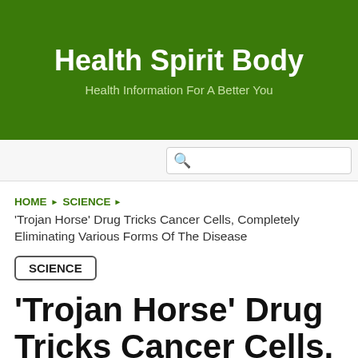Health Spirit Body
Health Information For A Better You
[Figure (other): Search bar input field with magnifying glass icon]
HOME ▶ SCIENCE ▶
'Trojan Horse' Drug Tricks Cancer Cells, Completely Eliminating Various Forms Of The Disease
SCIENCE
'Trojan Horse' Drug Tricks Cancer Cells, Completely